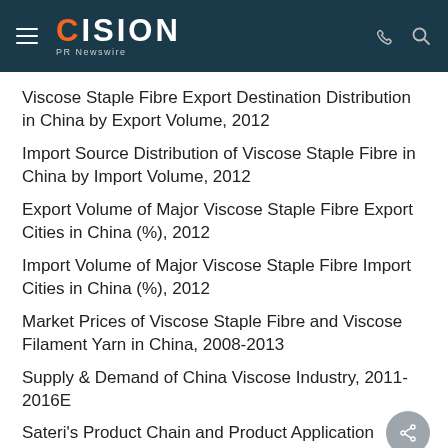CISION PR Newswire
Viscose Staple Fibre Export Destination Distribution in China by Export Volume, 2012
Import Source Distribution of Viscose Staple Fibre in China by Import Volume, 2012
Export Volume of Major Viscose Staple Fibre Export Cities in China (%), 2012
Import Volume of Major Viscose Staple Fibre Import Cities in China (%), 2012
Market Prices of Viscose Staple Fibre and Viscose Filament Yarn in China, 2008-2013
Supply & Demand of China Viscose Industry, 2011-2016E
Sateri's Product Chain and Product Application